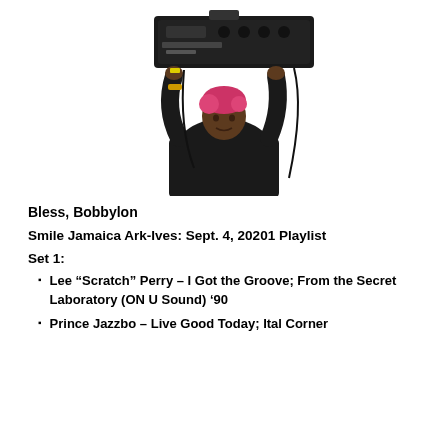[Figure (photo): A person with pink/red hair holding a large audio equipment/amplifier unit above their head with both hands, wearing a black jacket, with cables hanging down.]
Bless, Bobbylon
Smile Jamaica Ark-Ives: Sept. 4, 20201 Playlist
Set 1:
Lee “Scratch” Perry – I Got the Groove; From the Secret Laboratory (ON U Sound) ’90
Prince Jazzbo – Live Good Today; Ital Corner